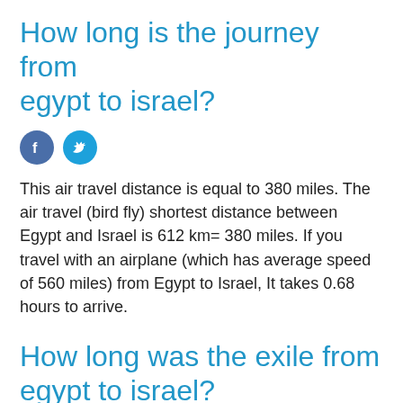How long is the journey from egypt to israel?
[Figure (other): Facebook and Twitter social share icons]
This air travel distance is equal to 380 miles. The air travel (bird fly) shortest distance between Egypt and Israel is 612 km= 380 miles. If you travel with an airplane (which has average speed of 560 miles) from Egypt to Israel, It takes 0.68 hours to arrive.
How long was the exile from egypt to israel?
[Figure (other): Facebook and Twitter social share icons]
There are several figures given for the length